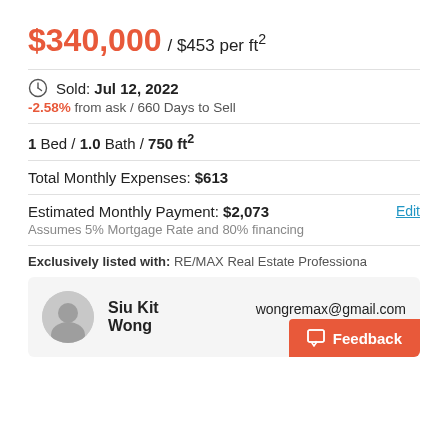$340,000 / $453 per ft²
Sold: Jul 12, 2022
-2.58% from ask / 660 Days to Sell
1 Bed / 1.0 Bath / 750 ft²
Total Monthly Expenses: $613
Estimated Monthly Payment: $2,073
Assumes 5% Mortgage Rate and 80% financing
Exclusively listed with: RE/MAX Real Estate Professiona
Siu Kit Wong
wongremax@gmail.com
(917) 575-8000